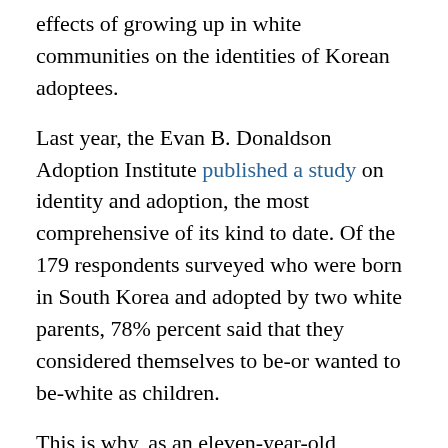effects of growing up in white communities on the identities of Korean adoptees.
Last year, the Evan B. Donaldson Adoption Institute published a study on identity and adoption, the most comprehensive of its kind to date. Of the 179 respondents surveyed who were born in South Korea and adopted by two white parents, 78% percent said that they considered themselves to be-or wanted to be-white as children.
This is why, as an eleven-year-old growing up in a smallish, very predominantly white Pittsburgh suburb, I couldn’t guess what it was my fellow classmate was staring at. As far as I was concerned, I looked just like the girl with the freckles. In the 80s,